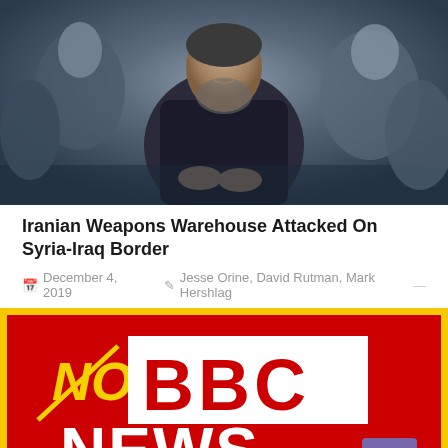[Figure (photo): Group of men seated, central figure smiling, wearing dark jacket, appears to be at a formal or public event]
Iranian Weapons Warehouse Attacked On Syria-Iraq Border
December 4, 2019  Jesse Orine, David Rutman, Mark Hershlag —
[Figure (logo): NoBBC News logo — red background with yellow 'NO' text crossed out and white BBC News logo, indicating criticism of BBC News coverage]